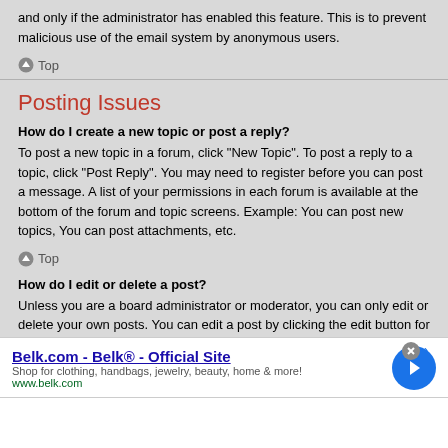and only if the administrator has enabled this feature. This is to prevent malicious use of the email system by anonymous users.
↑ Top
Posting Issues
How do I create a new topic or post a reply?
To post a new topic in a forum, click "New Topic". To post a reply to a topic, click "Post Reply". You may need to register before you can post a message. A list of your permissions in each forum is available at the bottom of the forum and topic screens. Example: You can post new topics, You can post attachments, etc.
↑ Top
How do I edit or delete a post?
Unless you are a board administrator or moderator, you can only edit or delete your own posts. You can edit a post by clicking the edit button for the relevant post, sometimes for only a limited time after the post was made. If someone has already replied to the post, you will find a small piece of text output below the
[Figure (other): Advertisement banner for Belk.com - Belk Official Site. Shows title 'Belk.com - Belk® - Official Site', description 'Shop for clothing, handbags, jewelry, beauty, home & more!', URL 'www.belk.com', and a blue circular arrow button. Has a close (X) button in top right.]